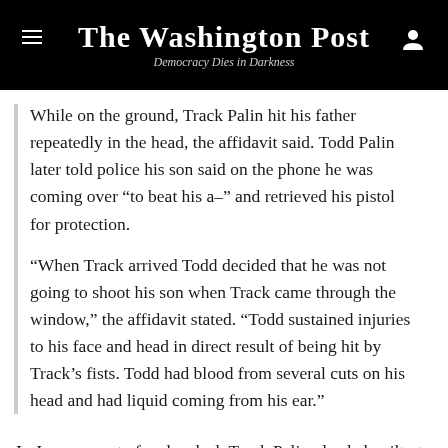The Washington Post
Democracy Dies in Darkness
While on the ground, Track Palin hit his father repeatedly in the head, the affidavit said. Todd Palin later told police his son said on the phone he was coming over “to beat his a–” and retrieved his pistol for protection.
“When Track arrived Todd decided that he was not going to shoot his son when Track came through the window,” the affidavit stated. “Todd sustained injuries to his face and head in direct result of being hit by Track’s fists. Todd had blood from several cuts on his head and had liquid coming from his ear.”
In June, as part of a plea deal, Track Palin pleaded guilty to one charge of criminal trespassing in exchange